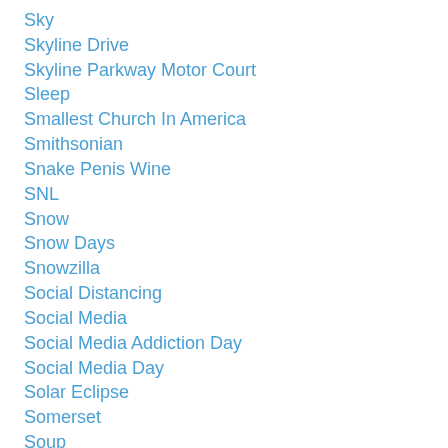Sky
Skyline Drive
Skyline Parkway Motor Court
Sleep
Smallest Church In America
Smithsonian
Snake Penis Wine
SNL
Snow
Snow Days
Snowzilla
Social Distancing
Social Media
Social Media Addiction Day
Social Media Day
Solar Eclipse
Somerset
Soup
South Pacific
Spelling Bee
Spiders